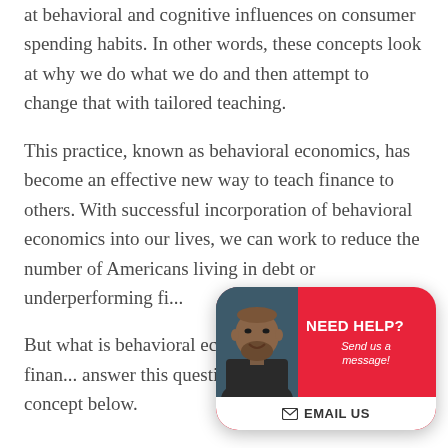at behavioral and cognitive influences on consumer spending habits. In other words, these concepts look at why we do what we do and then attempt to change that with tailored teaching.
This practice, known as behavioral economics, has become an effective new way to teach finance to others. With successful incorporation of behavioral economics into our lives, we can work to reduce the number of Americans living in debt or underperforming fi...
But what is behavioral eco... changing the face of finan... answer this question, we'l... look at this concept below.
[Figure (infographic): A chat support widget with a photo of a man (customer support agent) on the left half, and a red background on the right with bold white text 'NEED HELP?' and italic white text 'Send us a message!'. Below is a white button with an envelope icon and bold text 'EMAIL US'.]